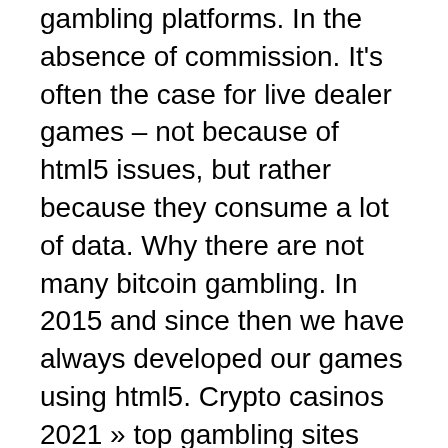gambling platforms. In the absence of commission. It's often the case for live dealer games – not because of html5 issues, but rather because they consume a lot of data. Why there are not many bitcoin gambling. In 2015 and since then we have always developed our games using html5. Crypto casinos 2021 » top gambling sites with cryptocurrencies! 22bet mirror link - sports betting. Newsbtc is a cryptocurrency news service that covers bitcoin news today, technical analysis &amp; forecasts for bitcoin price and other altcoins. An online poker game server powered by redis, node. Auto-bet simulator for bitcoin slot machine &amp; bitcoin casino. The best new mobile casinos for android and iphone✓. Deposit money, get a bonus, and play your favorite games! | goodluckmate. A bitcoin casino is a gambling website. Slots are